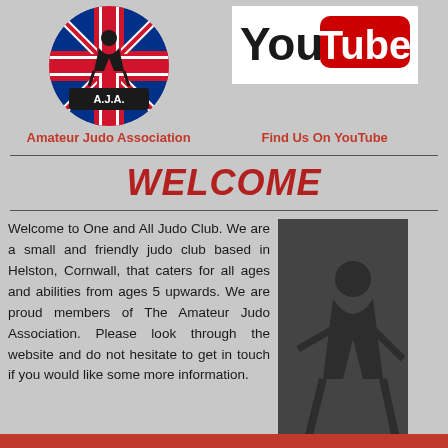[Figure (logo): Amateur Judo Association circular logo with British flag and judo silhouette]
Amateur Judo Association
[Figure (logo): YouTube logo on white background]
Find Us On YouTube
WELCOME
Welcome to One and All Judo Club. We are a small and friendly judo club based in Helston, Cornwall, that caters for all ages and abilities from ages 5 upwards. We are proud members of The Amateur Judo Association. Please look through the website and do not hesitate to get in touch if you would like some more information.
[Figure (photo): Black and white photo of judo practitioners]